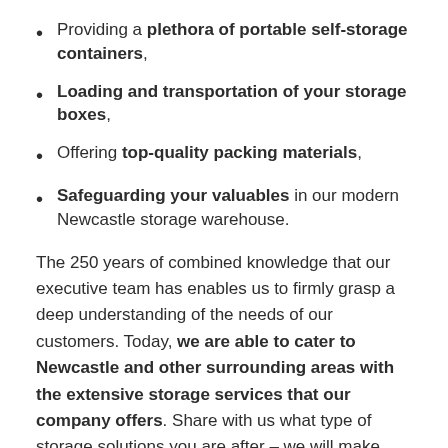Providing a plethora of portable self-storage containers,
Loading and transportation of your storage boxes,
Offering top-quality packing materials,
Safeguarding your valuables in our modern Newcastle storage warehouse.
The 250 years of combined knowledge that our executive team has enables us to firmly grasp a deep understanding of the needs of our customers. Today, we are able to cater to Newcastle and other surrounding areas with the extensive storage services that our company offers. Share with us what type of storage solutions you are after – we will make sure that you receive the top moving and